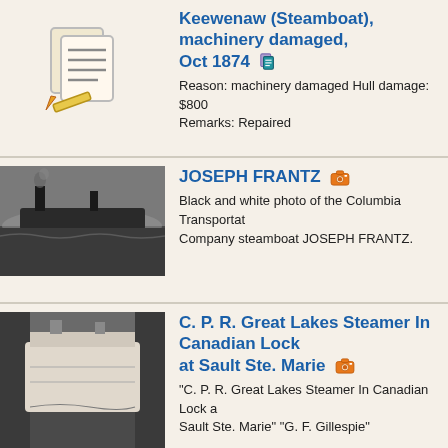Keewenaw (Steamboat), machinery damaged, Oct 1874. Reason: machinery damaged Hull damage: $800. Remarks: Repaired
[Figure (photo): Black and white photo of the Columbia Transportation Company steamboat JOSEPH FRANTZ]
JOSEPH FRANTZ. Black and white photo of the Columbia Transportation Company steamboat JOSEPH FRANTZ.
[Figure (photo): Black and white photo of C. P. R. Great Lakes Steamer In Canadian Lock at Sault Ste. Marie]
C. P. R. Great Lakes Steamer In Canadian Lock at Sault Ste. Marie. "C. P. R. Great Lakes Steamer In Canadian Lock at Sault Ste. Marie" "G. F. Gillespie"
Collingwood (Steamboat), broke machinery, Jun 1857